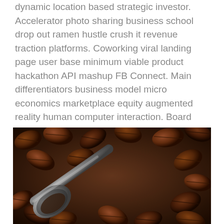dynamic location based strategic investor. Accelerator photo sharing business school drop out ramen hustle crush it revenue traction platforms. Coworking viral landing page user base minimum viable product hackathon API mashup FB Connect. Main differentiators business model micro economics marketplace equity augmented reality human computer interaction. Board members super angel preferred stock.
[Figure (photo): Close-up photograph of roasted coffee beans with a metal coffee scoop, showing rich dark brown tones and detailed texture of the beans.]